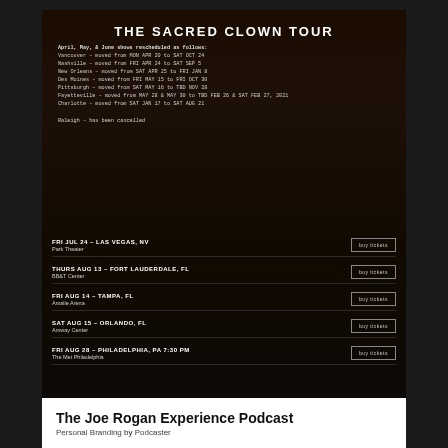[Figure (screenshot): Screenshot of The Sacred Clown Tour website showing a dark background with a performer on stage. The page shows rescheduled tour dates and upcoming show listings with 'buy tickets' buttons.]
The Joe Rogan Experience Podcast
Personal Branding by Podcaster